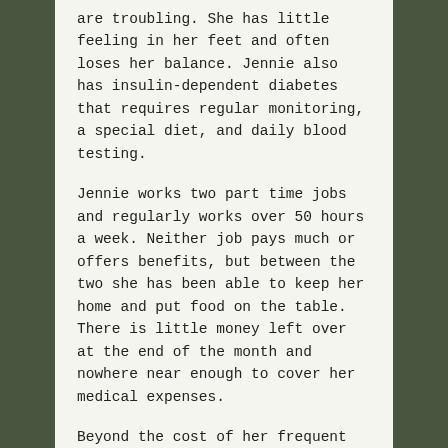are troubling. She has little feeling in her feet and often loses her balance. Jennie also has insulin-dependent diabetes that requires regular monitoring, a special diet, and daily blood testing.
Jennie works two part time jobs and regularly works over 50 hours a week. Neither job pays much or offers benefits, but between the two she has been able to keep her home and put food on the table. There is little money left over at the end of the month and nowhere near enough to cover her medical expenses.
Beyond the cost of her frequent doctors' visits — at the Free Clinic and with her neurologist and oncologist — Jennie's medications cost a small fortune. Each day she takes nearly a dozen medications prescribed to manage her medical challenges.
Despite her difficult circumstances, Jennie perseveres and has seldom missed a shift at either of her jobs. She is